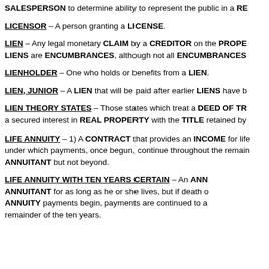SALESPERSON to determine ability to represent the public in a RE
LICENSOR – A person granting a LICENSE.
LIEN – Any legal monetary CLAIM by a CREDITOR on the PROPE LIENS are ENCUMBRANCES, although not all ENCUMBRANCES
LIENHOLDER – One who holds or benefits from a LIEN.
LIEN, JUNIOR – A LIEN that will be paid after earlier LIENS have b
LIEN THEORY STATES – Those states which treat a DEED OF TR a secured interest in REAL PROPERTY with the TITLE retained by
LIFE ANNUITY – 1) A CONTRACT that provides an INCOME for life under which payments, once begun, continue throughout the remain ANNUITANT but not beyond.
LIFE ANNUITY WITH TEN YEARS CERTAIN – An ANN ANNUITANT for as long as he or she lives, but if death o ANNUITY payments begin, payments are continued to a remainder of the ten years.